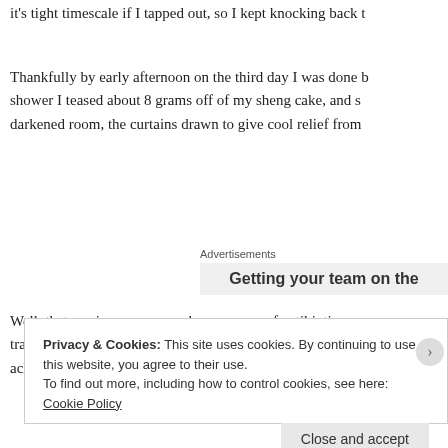it's tight timescale if I tapped out, so I kept knocking back t
Thankfully by early afternoon on the third day I was done b shower I teased about 8 grams off of my sheng cake, and s darkened room, the curtains drawn to give cool relief from
Advertisements
Getting your team on the
Well, that session was as good as a course of antibiotics, a transfusion, and aromatherapy all rolled into one. After a q aches and fever free.
Privacy & Cookies: This site uses cookies. By continuing to use this website, you agree to their use.
To find out more, including how to control cookies, see here: Cookie Policy
Close and accept